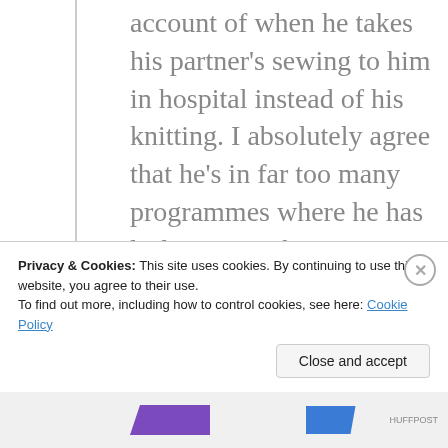account of when he takes his partner's sewing to him in hospital instead of his knitting. I absolutely agree that he's in far too many programmes where he has little to contribute apart from his dog-collar, and I hope the Beeb eventually manages to grow out of him.
Privacy & Cookies: This site uses cookies. By continuing to use this website, you agree to their use. To find out more, including how to control cookies, see here: Cookie Policy
Close and accept